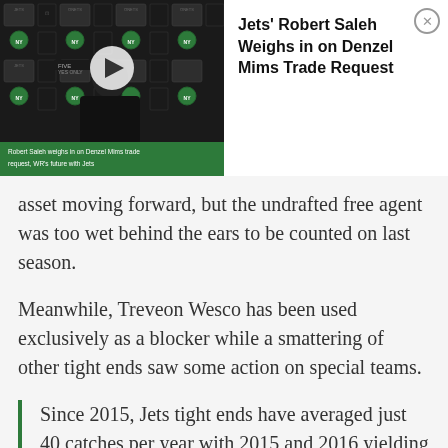[Figure (screenshot): Video thumbnail showing a press conference with a man in a black hoodie (Robert Saleh) in front of a NY Jets branded backdrop. A white play button is overlaid. A green bar at the bottom reads: 'Robert Saleh weighs in on Denzel Mims trade request, WR's future with Jets']
Jets' Robert Saleh Weighs in on Denzel Mims Trade Request
asset moving forward, but the undrafted free agent was too wet behind the ears to be counted on last season.
Meanwhile, Treveon Wesco has been used exclusively as a blocker while a smattering of other tight ends saw some action on special teams.
Since 2015, Jets tight ends have averaged just 40 catches per year with 2015 and 2016 yielding a total of just 26 receptions. Yes, you read that